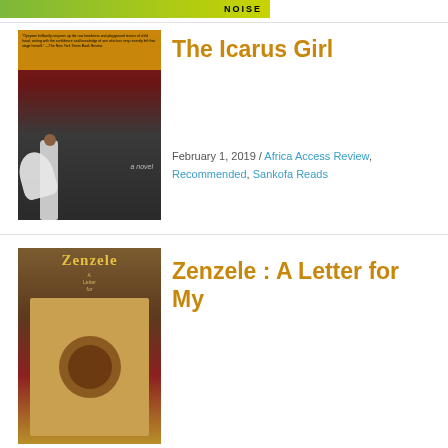[Figure (illustration): Green/yellow gradient banner with 'NOISE' text in black bold letters]
[Figure (photo): Book cover of 'The Icarus Girl' — dark background, figure of a girl with white wings, yellow header band with review quotes, 'a novel' text]
The Icarus Girl
February 1, 2019 / Africa Access Review, Recommended, Sankofa Reads
[Figure (photo): Book cover of 'Zenzele: A Letter for My' — earthtone colors with title in large letters at top]
Zenzele : A Letter for My